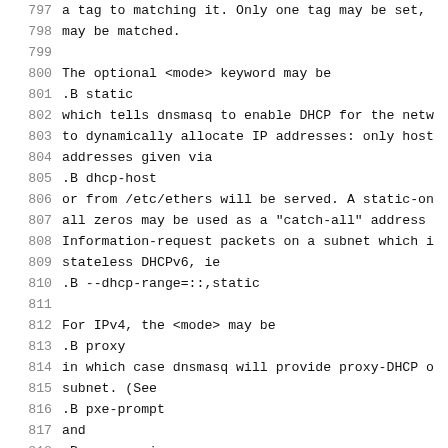797  a tag to matching it. Only one tag may be set,
798  may be matched.
799
800  The optional <mode> keyword may be
801  .B static
802  which tells dnsmasq to enable DHCP for the netw
803  to dynamically allocate IP addresses: only host
804  addresses given via
805  .B dhcp-host
806  or from /etc/ethers will be served. A static-on
807  all zeros may be used as a "catch-all" address
808  Information-request packets on a subnet which i
809  stateless DHCPv6, ie
810  .B --dhcp-range=::,static
811
812  For IPv4, the <mode> may be
813  .B proxy
814  in which case dnsmasq will provide proxy-DHCP o
815  subnet. (See
816  .B pxe-prompt
817  and
818  .B pxe-service